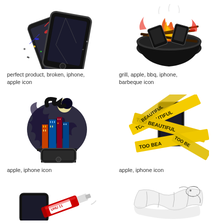[Figure (illustration): Broken/shattered iPhone with colorful paint splatter, two phones overlapping]
perfect product, broken, iphone, apple icon
[Figure (illustration): Black bowl with iPhones on fire like a BBQ grill with flames and sticks]
grill, apple, bbq, iphone, barbeque icon
[Figure (illustration): iPhone with nighttime city skyline emerging from the screen under moonlight]
apple, iphone icon
[Figure (illustration): iPhone wrapped in yellow caution tape reading TOO BEAUTIFUL]
apple, iphone icon
[Figure (illustration): Red tube/glue with black iPhone partially visible]
[Figure (illustration): White cloth/fabric with some line drawings]